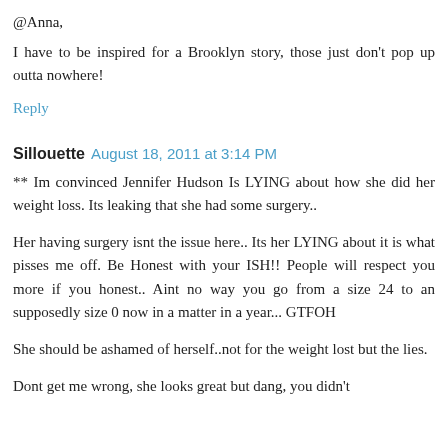@Anna,
I have to be inspired for a Brooklyn story, those just don't pop up outta nowhere!
Reply
Sillouette  August 18, 2011 at 3:14 PM
** Im convinced Jennifer Hudson Is LYING about how she did her weight loss. Its leaking that she had some surgery..
Her having surgery isnt the issue here.. Its her LYING about it is what pisses me off. Be Honest with your ISH!! People will respect you more if you honest.. Aint no way you go from a size 24 to an supposedly size 0 now in a matter in a year... GTFOH
She should be ashamed of herself..not for the weight lost but the lies.
Dont get me wrong, she looks great but dang, you didn't